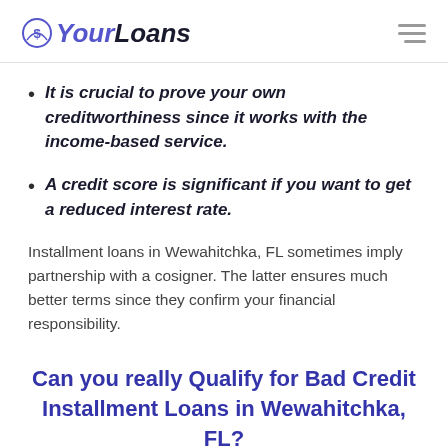YourLoans
It is crucial to prove your own creditworthiness since it works with the income-based service.
A credit score is significant if you want to get a reduced interest rate.
Installment loans in Wewahitchka, FL sometimes imply partnership with a cosigner. The latter ensures much better terms since they confirm your financial responsibility.
Can you really Qualify for Bad Credit Installment Loans in Wewahitchka, FL?